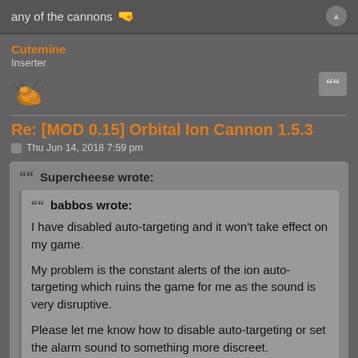any of the cannons 🤤
Cutemine
Inserter
Re: [MOD 0.15] Orbital Ion Cannon 1.5.3
Thu Jun 14, 2018 7:59 pm
Supercheese wrote:
babbos wrote:
I have disabled auto-targeting and it won't take effect on my game.

My problem is the constant alerts of the ion auto-targeting which ruins the game for me as the sound is very disruptive.

Please let me know how to disable auto-targeting or set the alarm sound to something more discreet.